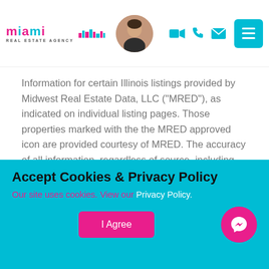[Figure (logo): Miami Real Estate Agency logo with colorful letters and avatar photo of agent, plus navigation icons and hamburger menu button]
Information for certain Illinois listings provided by Midwest Real Estate Data, LLC (“MRED”), as indicated on individual listing pages. Those properties marked with the the MRED approved icon are provided courtesy of MRED. The accuracy of all information, regardless of source, including but not limited to square footages and lot sizes, is deemed reliable but not guaranteed and should be personally verified through personal inspection by and/or with
Accept Cookies & Privacy Policy
Our site uses cookies. View our Privacy Policy.
I Agree